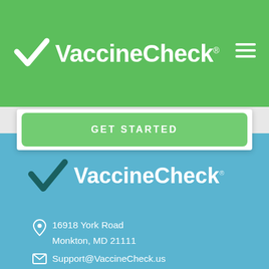[Figure (logo): VaccineCheck logo with white checkmark and white text on green background header bar, with hamburger menu icon top right]
GET STARTED
[Figure (logo): VaccineCheck logo with dark teal checkmark and white text on blue background footer]
16918 York Road
Monkton, MD 21111
Support@VaccineCheck.us